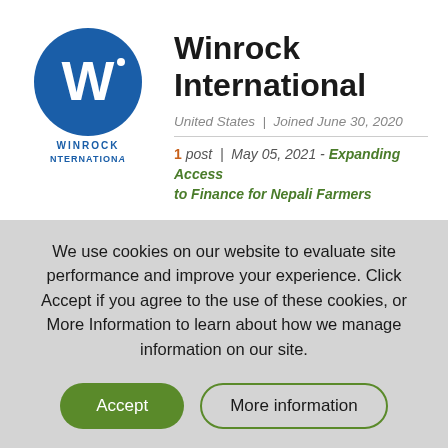[Figure (logo): Winrock International circular blue logo with white W letter mark, with text WINROCK INTERNATIONAL below]
Winrock International
United States | Joined June 30, 2020
1 post | May 05, 2021 - Expanding Access to Finance for Nepali Farmers
We use cookies on our website to evaluate site performance and improve your experience. Click Accept if you agree to the use of these cookies, or More Information to learn about how we manage information on our site.